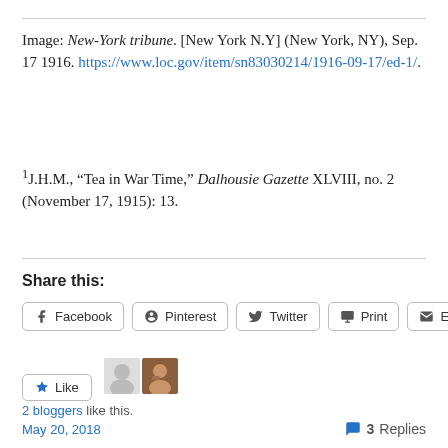Image: New-York tribune. [New York N.Y] (New York, NY), Sep. 17 1916. https://www.loc.gov/item/sn83030214/1916-09-17/ed-1/.
1J.H.M., “Tea in War Time,” Dalhousie Gazette XLVIII, no. 2 (November 17, 1915): 13.
Share this:
Facebook  Pinterest  Twitter  Print  Email
Like  2 bloggers like this.
May 20, 2018   3 Replies